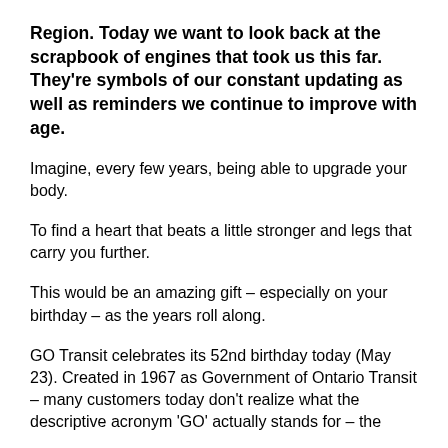Region. Today we want to look back at the scrapbook of engines that took us this far. They're symbols of our constant updating as well as reminders we continue to improve with age.
Imagine, every few years, being able to upgrade your body.
To find a heart that beats a little stronger and legs that carry you further.
This would be an amazing gift – especially on your birthday – as the years roll along.
GO Transit celebrates its 52nd birthday today (May 23). Created in 1967 as Government of Ontario Transit – many customers today don't realize what the descriptive acronym 'GO' actually stands for – the